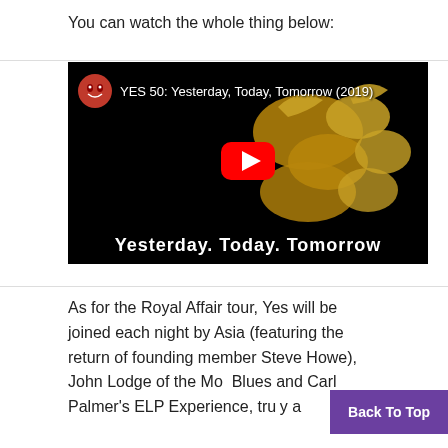You can watch the whole thing below:
[Figure (screenshot): YouTube video thumbnail for 'YES 50: Yesterday, Today, Tomorrow (2019)' showing the YES band logo in gold on black background with a YouTube play button in the center and the text 'Yesterday. Today. Tomorrow' at the bottom.]
As for the Royal Affair tour, Yes will be joined each night by Asia (featuring the return of founding member Steve Howe), John Lodge of the Mo… Blues and Carl Palmer's ELP Experience, tru… a